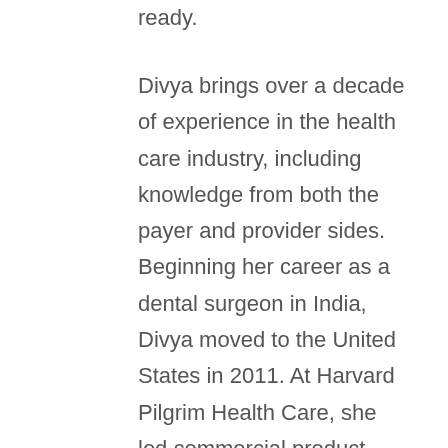ready.
Divya brings over a decade of experience in the health care industry, including knowledge from both the payer and provider sides. Beginning her career as a dental surgeon in India, Divya moved to the United States in 2011. At Harvard Pilgrim Health Care, she led commercial product strategy for the million-member health plan in New England. There, she held responsibility for development, management, and optimization of channel distribution. She researched market trends, customer needs, and segments to design